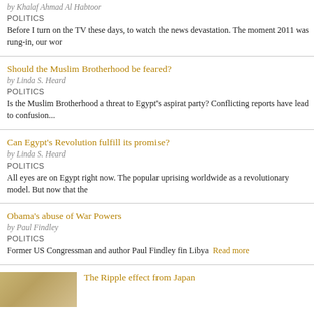by Khalaf Ahmad Al Habtoor
POLITICS
Before I turn on the TV these days, to watch the news devastation. The moment 2011 was rung-in, our wor
Should the Muslim Brotherhood be feared?
by Linda S. Heard
POLITICS
Is the Muslim Brotherhood a threat to Egypt's aspirat party? Conflicting reports have lead to confusion...
Can Egypt's Revolution fulfill its promise?
by Linda S. Heard
POLITICS
All eyes are on Egypt right now. The popular uprising worldwide as a revolutionary model. But now that the
Obama's abuse of War Powers
by Paul Findley
POLITICS
Former US Congressman and author Paul Findley fin Libya
Read more
The Ripple effect from Japan